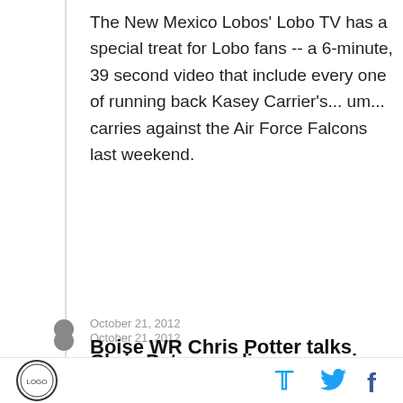The New Mexico Lobos' Lobo TV has a special treat for Lobo fans -- a 6-minute, 39 second video that include every one of running back Kasey Carrier's... um... carries against the Air Force Falcons last weekend.
October 21, 2012
Chris Petersen discusses win over UNLV
By Jeremy Mauss | @JeremyMauss
Boise State head coach Chris Petersen talks about their 32-7 win over UNLV.
October 21, 2012
Boise WR Chris Potter talks about win over